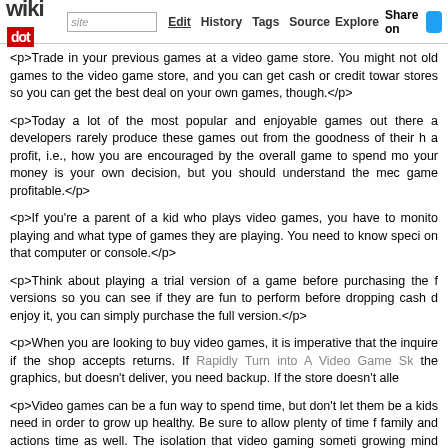wikidot | site | Edit | History | Tags | Source | Explore | Share on [twitter]
<p>Trade in your previous games at a video game store. You might not old games to the video game store, and you can get cash or credit towar stores so you can get the best deal on your own games, though.</p>
<p>Today a lot of the most popular and enjoyable games out there a developers rarely produce these games out from the goodness of their h a profit, i.e., how you are encouraged by the overall game to spend mo your money is your own decision, but you should understand the mec game profitable.</p>
<p>If you're a parent of a kid who plays video games, you have to monito playing and what type of games they are playing. You need to know speci on that computer or console.</p>
<p>Think about playing a trial version of a game before purchasing the f versions so you can see if they are fun to perform before dropping cash d enjoy it, you can simply purchase the full version.</p>
<p>When you are looking to buy video games, it is imperative that the inquire if the shop accepts returns. If Rapidly Turn into A Video Game Sk the graphics, but doesn't deliver, you need backup. If the store doesn't alle</p>
<p>Video games can be a fun way to spend time, but don't let them be a kids need in order to grow up healthy. Be sure to allow plenty of time f family and actions time as well. The isolation that video gaming someti growing mind and body.</p>
<p>If Wish to Grow to be An Knowledgeable On Video Games? Learn gambling experience so if yet this article has proven you how! Try ther